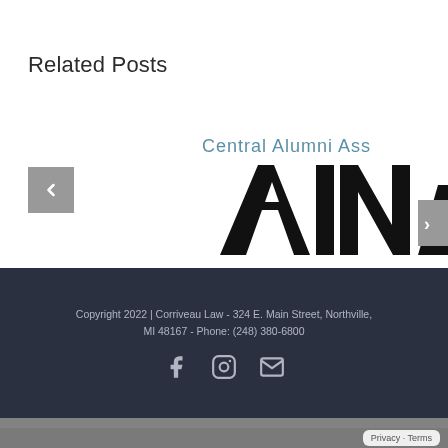Related Posts
[Figure (logo): Central Alumni Association logo showing 'Central Alumni Ass' text in teal/blue and large stylized 'AINA' letters in black, partially cropped, with grey navigation arrow buttons on either side]
Copyright 2022 | Corriveau Law - 324 E. Main Street, Northville, MI 48167 - Phone: (248) 380-6800
[Figure (other): Social media icons: Facebook, Instagram, and Email/envelope icons in grey on dark background]
[Figure (photo): Partial grey/dark landscape or water photo visible at very bottom of page]
Privacy - Terms